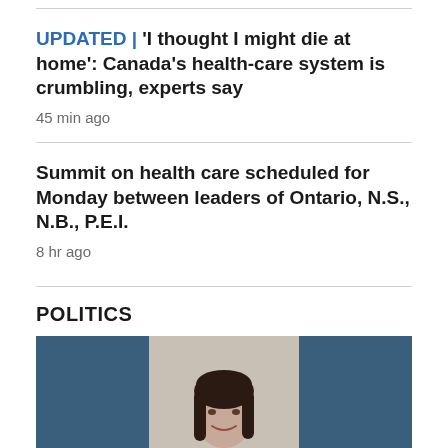UPDATED | 'I thought I might die at home': Canada's health-care system is crumbling, experts say
45 min ago
Summit on health care scheduled for Monday between leaders of Ontario, N.S., N.B., P.E.I.
8 hr ago
POLITICS
[Figure (photo): A woman with dark hair smiling, photographed against a beige/grey background, flanked by blue panels on left and right.]